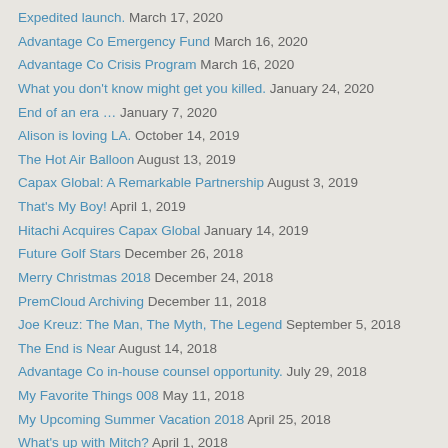Expedited launch. March 17, 2020
Advantage Co Emergency Fund March 16, 2020
Advantage Co Crisis Program March 16, 2020
What you don't know might get you killed. January 24, 2020
End of an era … January 7, 2020
Alison is loving LA. October 14, 2019
The Hot Air Balloon August 13, 2019
Capax Global: A Remarkable Partnership August 3, 2019
That's My Boy! April 1, 2019
Hitachi Acquires Capax Global January 14, 2019
Future Golf Stars December 26, 2018
Merry Christmas 2018 December 24, 2018
PremCloud Archiving December 11, 2018
Joe Kreuz: The Man, The Myth, The Legend September 5, 2018
The End is Near August 14, 2018
Advantage Co in-house counsel opportunity. July 29, 2018
My Favorite Things 008 May 11, 2018
My Upcoming Summer Vacation 2018 April 25, 2018
What's up with Mitch? April 1, 2018
Capax Archive Solutions December 4, 2017